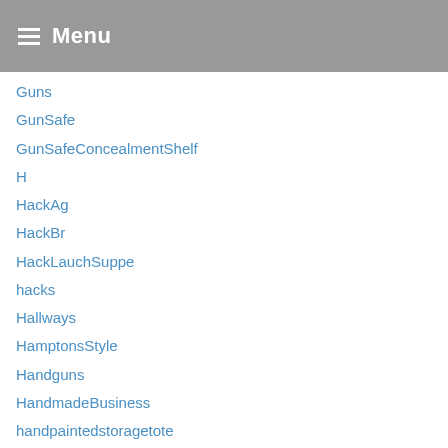Menu
Guns
GunSafe
GunSafeConcealmentShelf
H
HackAg
HackBr
HackLauchSuppe
hacks
Hallways
HamptonsStyle
Handguns
HandmadeBusiness
handpaintedstoragetote
HangarsTore
Hanger2
HangersForHangingPlants